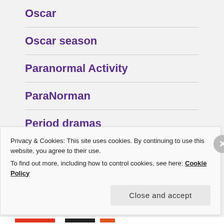Oscar
Oscar season
Paranormal Activity
ParaNorman
Period dramas
Pixar
Privacy & Cookies: This site uses cookies. By continuing to use this website, you agree to their use.
To find out more, including how to control cookies, see here: Cookie Policy
Close and accept